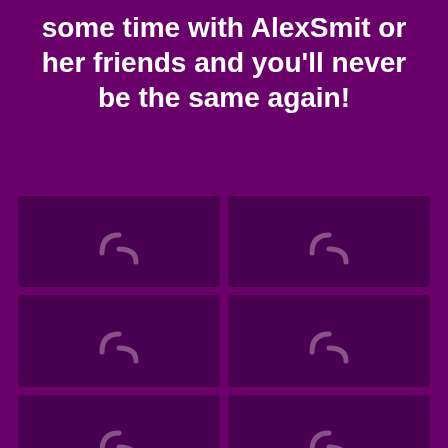some time with AlexSmit or her friends and you'll never be the same again!
[Figure (other): 2x3 grid of image placeholders with loading spinner icons on dark purple background]